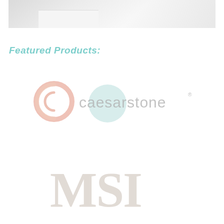[Figure (photo): Faded/washed out photo of a kitchen or interior room with white countertops and light flooring, cropped at top of page]
Featured Products:
[Figure (logo): Caesarstone brand logo — circular C icon on left with peach/salmon gradient ring, teal circle overlapping text, company name 'caesarstone' in grey]
[Figure (logo): MSI brand logo — large serif letters 'MSI' in light beige/taupe color]